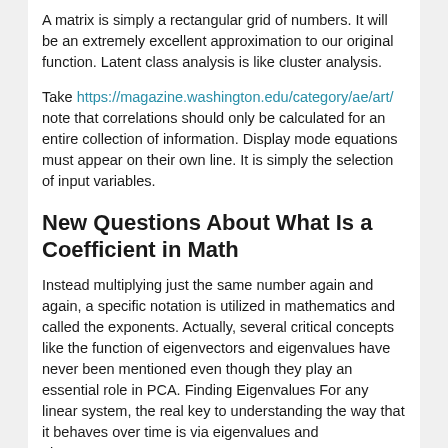A matrix is simply a rectangular grid of numbers. It will be an extremely excellent approximation to our original function. Latent class analysis is like cluster analysis.
Take https://magazine.washington.edu/category/ae/art/ note that correlations should only be calculated for an entire collection of information. Display mode equations must appear on their own line. It is simply the selection of input variables.
New Questions About What Is a Coefficient in Math
Instead multiplying just the same number again and again, a specific notation is utilized in mathematics and called the exponents. Actually, several critical concepts like the function of eigenvectors and eigenvalues have never been mentioned even though they play an essential role in PCA. Finding Eigenvalues For any linear system, the real key to understanding the way that it behaves over time is via eigenvalues and eigenvectors.
It might help you to memorize the melodic mathematics, instead of the formula. There are a lot of combinations